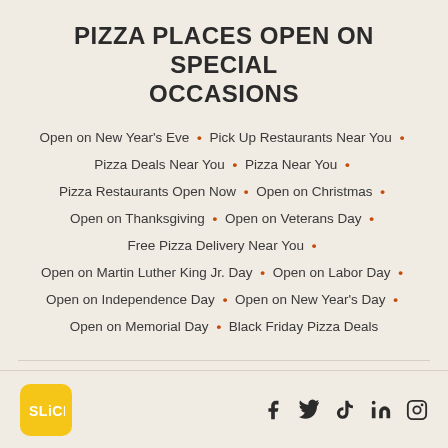PIZZA PLACES OPEN ON SPECIAL OCCASIONS
Open on New Year's Eve · Pick Up Restaurants Near You · Pizza Deals Near You · Pizza Near You · Pizza Restaurants Open Now · Open on Christmas · Open on Thanksgiving · Open on Veterans Day · Free Pizza Delivery Near You · Open on Martin Luther King Jr. Day · Open on Labor Day · Open on Independence Day · Open on New Year's Day · Open on Memorial Day · Black Friday Pizza Deals
Slice > Pennsylvania > Pizza Places in Pennsburg, PA
[Figure (logo): Slice logo - yellow rounded square with SLICE text in white]
[Figure (other): Social media icons: Facebook, Twitter/X, TikTok, LinkedIn, Instagram]